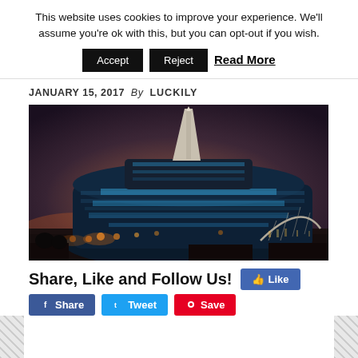This website uses cookies to improve your experience. We'll assume you're ok with this, but you can opt-out if you wish.
Accept   Reject   Read More
JANUARY 15, 2017  By  LUCKILY
[Figure (photo): Night photograph of a modern glass building with a tall spire, illuminated against a dark brownish-purple sky, with a sculptural arch bridge visible in the background right.]
Share, Like and Follow Us!   Like   Share   Tweet   Save